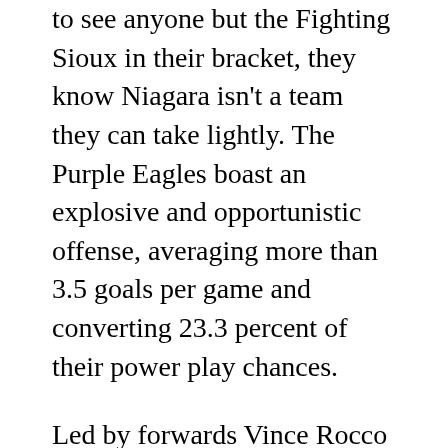to see anyone but the Fighting Sioux in their bracket, they know Niagara isn't a team they can take lightly. The Purple Eagles boast an explosive and opportunistic offense, averaging more than 3.5 goals per game and converting 23.3 percent of their power play chances.
Led by forwards Vince Rocco and Matt Caruana (45 and 38 points, respectively), Niagara went undefeated this year against CCHA opponents. The Purple Eagles posted a win against Bowling Green and two against Western Michigan.
Michigan coach Red Berenson admitted that he and his staff don't know too much about